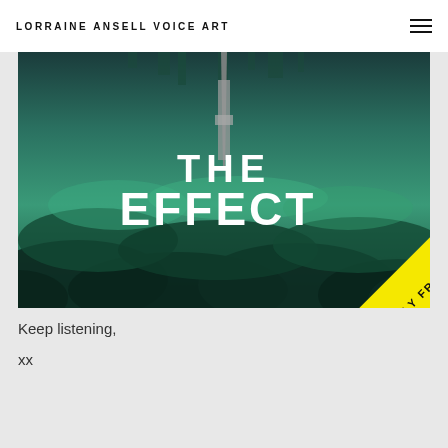LORRAINE ANSELL VOICE ART
[Figure (illustration): Book/audiobook cover for 'The Effect' — teal/green stormy clouds with a needle-like tower descending from an inverted cityscape, bold white text reading 'THE EFFECT', yellow diagonal banner in lower right reading 'ONLY FROM audible']
Keep listening,
xx